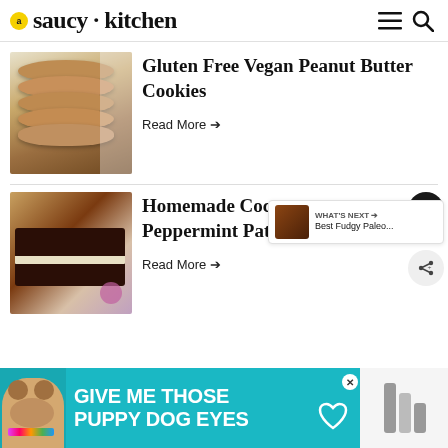saucy kitchen
[Figure (photo): Stack of peanut butter cookies with a glass of milk in the background]
Gluten Free Vegan Peanut Butter Cookies
Read More →
[Figure (photo): Homemade coconut peppermint patties cut in half showing white coconut interior with chocolate coating, with a pink flower]
Homemade Coconut Peppermint Patties
Read More →
WHAT'S NEXT → Best Fudgy Paleo...
[Figure (screenshot): Advertisement banner: GIVE ME THOSE PUPPY DOG EYES on teal background with dog image]